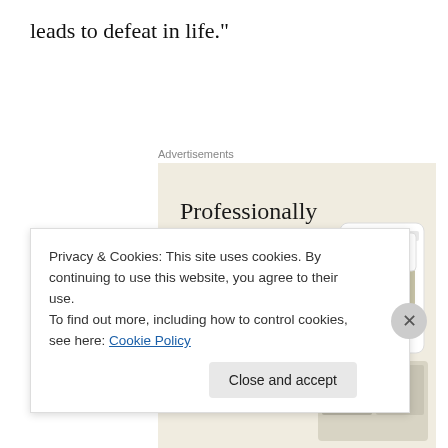leads to defeat in life."
Advertisements
[Figure (screenshot): Website advertisement showing 'Professionally designed sites in less than a week' with an Explore options button on a beige background, with mock website/app screen mockups on the right side.]
Privacy & Cookies: This site uses cookies. By continuing to use this website, you agree to their use.
To find out more, including how to control cookies, see here: Cookie Policy
Close and accept